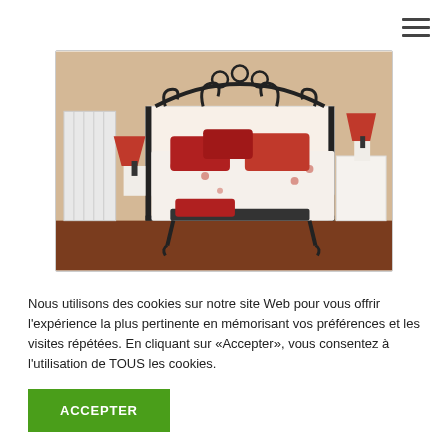[Figure (other): Hamburger menu icon (three horizontal lines) in top-right corner]
[Figure (photo): Photo of a bedroom with a wrought-iron double bed, white and red floral bedding, red pillows, two red lamp nightstands, a white radiator on the left, and a bench with red cushions at the foot of the bed. Warm-toned walls and dark wood floor.]
Nous utilisons des cookies sur notre site Web pour vous offrir l'expérience la plus pertinente en mémorisant vos préférences et les visites répétées. En cliquant sur «Accepter», vous consentez à l'utilisation de TOUS les cookies.
ACCEPTER